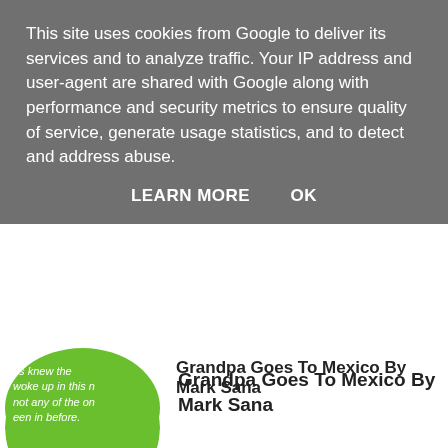This site uses cookies from Google to deliver its services and to analyze traffic. Your IP address and user-agent are shared with Google along with performance and security metrics to ensure quality of service, generate usage statistics, and to detect and address abuse.
LEARN MORE   OK
Grandpa Goes To Mexico By Mark Sana
An Apprenticeship By Paul Kimm
Uncle Grand's Wheat Field By Jim Latham